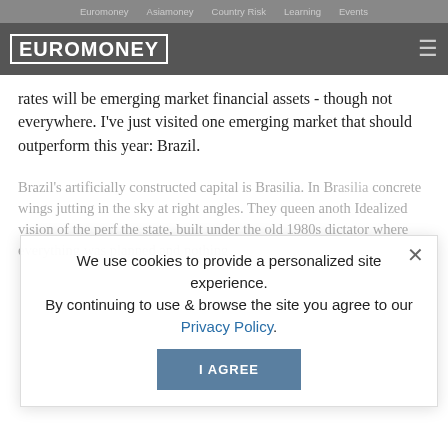Euromoney   Asiamoney   Country Risk   Learning   Events
[Figure (logo): Euromoney logo with hamburger menu on dark grey header bar]
rates will be emerging market financial assets - though not everywhere. I've just visited one emerging market that should outperform this year: Brazil.
Brazil's artificially constructed capital is Brasilia. In Br... concrete wings jutting... sky at right angles. They... queen anoth... Idealized vision of the perf... the state, built under the old 1980s dictator... where everything was planned and nothing...
We use cookies to provide a personalized site experience.
By continuing to use & browse the site you agree to our Privacy Policy.
I AGREE